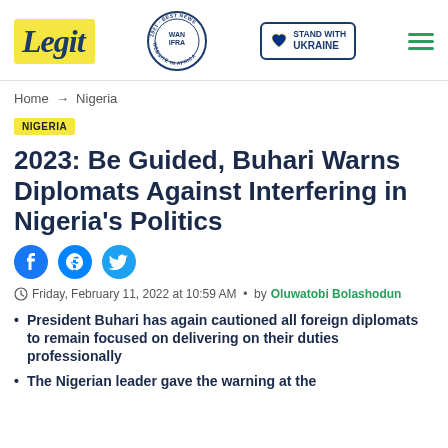Legit | Home → Nigeria
Home → Nigeria
NIGERIA
2023: Be Guided, Buhari Warns Diplomats Against Interfering in Nigeria's Politics
Friday, February 11, 2022 at 10:59 AM • by Oluwatobi Bolashodun
President Buhari has again cautioned all foreign diplomats to remain focused on delivering on their duties professionally
The Nigerian leader gave the warning at the